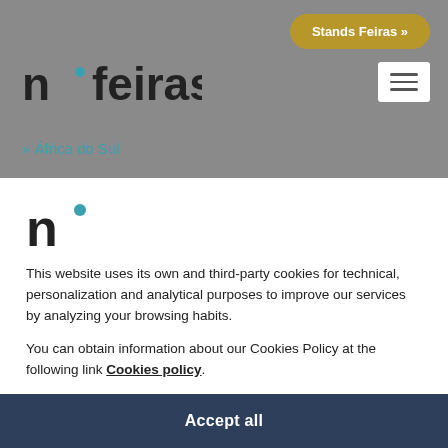[Figure (logo): n·feiras website logo text in dark color on gray background header]
Stands Feiras »
» África do Sul
[Figure (logo): Small n· logo mark with blue dot]
This website uses its own and third-party cookies for technical, personalization and analytical purposes to improve our services by analyzing your browsing habits.
You can obtain information about our Cookies Policy at the following link Cookies policy.
You can accept all Cookies by clicking on the Accept button or you can configure or reject them by clicking on Preferences.
Accept all